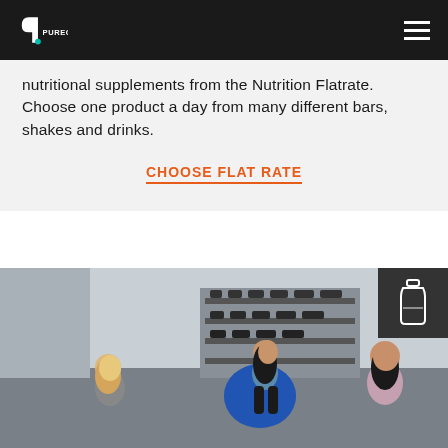PUREGYM
nutritional supplements from the Nutrition Flatrate. Choose one product a day from many different bars, shakes and drinks.
CHOOSE FLAT RATE
[Figure (photo): Three women sitting and socializing in a gym near a dumbbell rack. One sits on a blue exercise ball. A dark overlay icon of a water bottle appears in the top right corner of the image.]